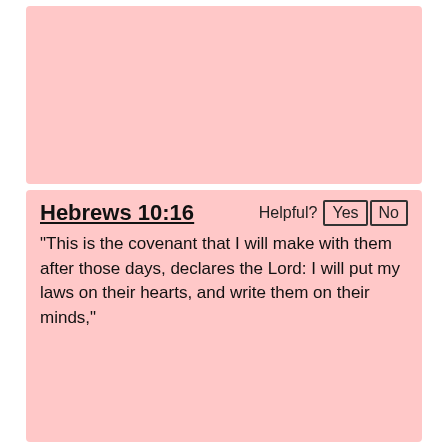[Figure (other): Pink background card with no visible text content (top section)]
Hebrews 10:16
“This is the covenant that I will make with them after those days, declares the Lord: I will put my laws on their hearts, and write them on their minds,”
Luke 12:4-5
“I tell you, my friends, do not fear those who kill the body, and after that have nothing more that they can do. But I will…